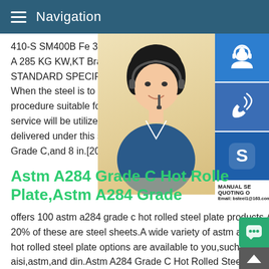Navigation
410-S SM400B Fe 360C S235J2G3 Grade A 285 KG KW,KT Brand ASTM International STANDARD SPECIFICATION FOR LOWA When the steel is to be welded,it is presup procedure suitable for the grade of steel a service will be utilized.The maximum thick delivered under this specification is 12 in.[ Grade C,and 8 in.[200 mm] for plates of G
[Figure (photo): Woman with headset customer service representative photo]
[Figure (infographic): Sidebar with three blue icon buttons: customer service headset icon, phone/call icon, Skype icon. Below: MANUAL SE label, QUOTING O label, Email: bsteel1@163.com]
Astm A284 Grade C Hot Rolled Plate,Astm A284 Grade
offers 100 astm a284 grade c hot rolled steel plate products.About 20% of these are steel sheets.A wide variety of astm a284 grade c hot rolled steel plate options are available to you,such as aisi,astm,and din.Astm A284 Grade C Hot Rolled Steel Plate,A A284 Grade offers 100 astm a284 grade c hot rolled steel plat